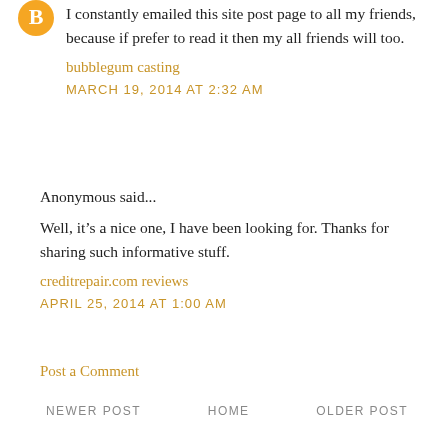I constantly emailed this site post page to all my friends, because if prefer to read it then my all friends will too.
bubblegum casting
MARCH 19, 2014 AT 2:32 AM
Anonymous said...
Well, it’s a nice one, I have been looking for. Thanks for sharing such informative stuff.
creditrepair.com reviews
APRIL 25, 2014 AT 1:00 AM
Post a Comment
NEWER POST   HOME   OLDER POST